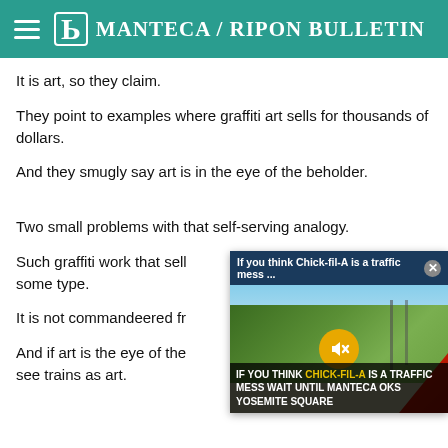Manteca / Ripon Bulletin
It is art, so they claim.
They point to examples where graffiti art sells for thousands of dollars.
And they smugly say art is in the eye of the beholder.
Two small problems with that self-serving analogy.
Such graffiti work that sell...some type.
It is not commandeered fr...
And if art is the eye of the...see trains as art.
[Figure (screenshot): Video popup overlay showing a thumbnail of a road scene with trees, with header text 'If you think Chick-fil-A is a traffic mess ...' and caption 'IF YOU THINK CHICK-FIL-A IS A TRAFFIC MESS WAIT UNTIL MANTECA OKS YOSEMITE SQUARE']